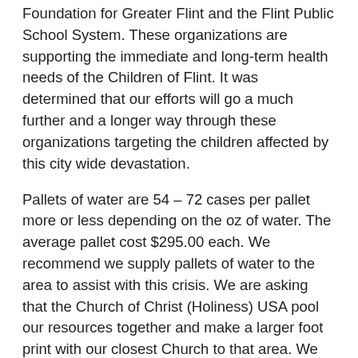Foundation for Greater Flint and the Flint Public School System. These organizations are supporting the immediate and long-term health needs of the Children of Flint. It was determined that our efforts will go a much further and a longer way through these organizations targeting the children affected by this city wide devastation.
Pallets of water are 54 – 72 cases per pallet more or less depending on the oz of water. The average pallet cost $295.00 each. We recommend we supply pallets of water to the area to assist with this crisis. We are asking that the Church of Christ (Holiness) USA pool our resources together and make a larger foot print with our closest Church to that area. We further ask you to send your financial support to Zion Chapel Church as we support the Flint Residents. (Zion Chapel Church is already assisting with this project) Please make your checks payable to Zion Chapel Church. On